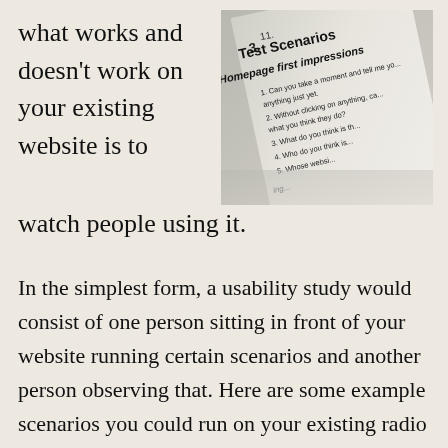what works and doesn't work on your existing website is to watch people using it.
[Figure (photo): Photo of a printed document titled 'Test Scenarios' with a subsection 'Homepage first impressions' and numbered questions visible, taken at an angle on a surface.]
In the simplest form, a usability study would consist of one person sitting in front of your website running certain scenarios and another person observing that. Here are some example scenarios you could run on your existing radio station's website: